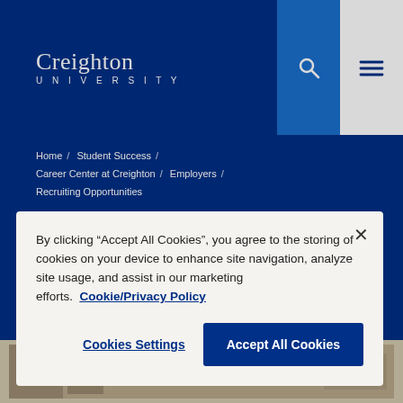Creighton University
Home / Student Success / Career Center at Creighton / Employers / Recruiting Opportunities
Recruiting Opportunities
By clicking “Accept All Cookies”, you agree to the storing of cookies on your device to enhance site navigation, analyze site usage, and assist in our marketing efforts. Cookie/Privacy Policy
Cookies Settings
Accept All Cookies